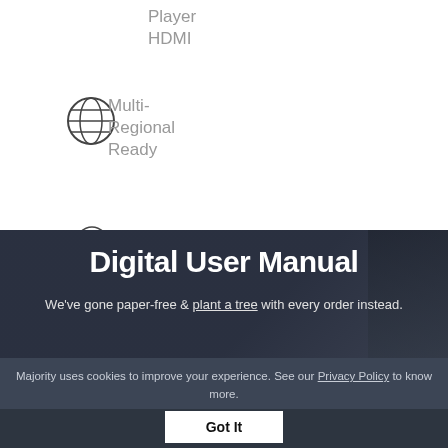Player
HDMI
[Figure (illustration): Globe/world icon (multi-regional symbol)]
Multi-
Regional
Ready
[Figure (illustration): Remote control icon]
Remote
Control
Digital User Manual
We've gone paper-free & plant a tree with every order instead.
Majority uses cookies to improve your experience. See our Privacy Policy to know more.
Got It